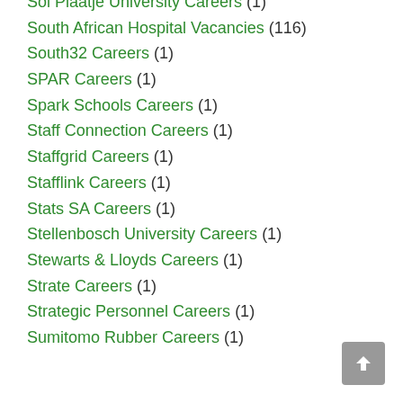Sol Plaatje University Careers (1)
South African Hospital Vacancies (116)
South32 Careers (1)
SPAR Careers (1)
Spark Schools Careers (1)
Staff Connection Careers (1)
Staffgrid Careers (1)
Stafflink Careers (1)
Stats SA Careers (1)
Stellenbosch University Careers (1)
Stewarts & Lloyds Careers (1)
Strate Careers (1)
Strategic Personnel Careers (1)
Sumitomo Rubber Careers (1)